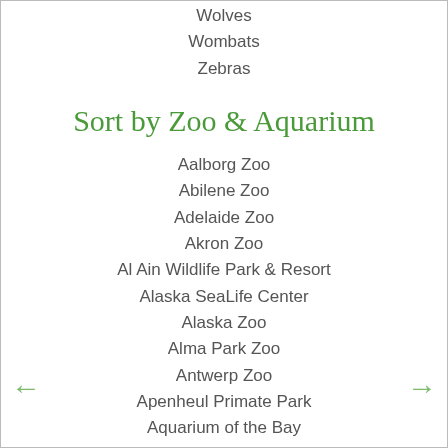Wolves
Wombats
Zebras
Sort by Zoo & Aquarium
Aalborg Zoo
Abilene Zoo
Adelaide Zoo
Akron Zoo
Al Ain Wildlife Park & Resort
Alaska SeaLife Center
Alaska Zoo
Alma Park Zoo
Antwerp Zoo
Apenheul Primate Park
Aquarium of the Bay
Aquarium of the Pacific
Artis Zoo